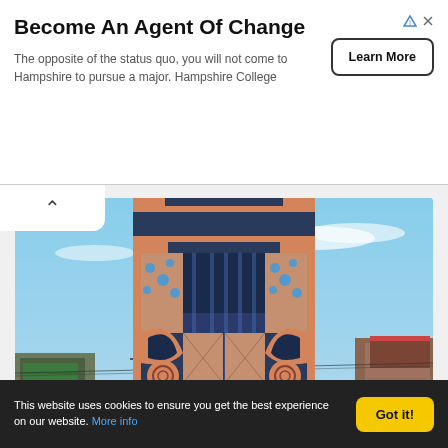[Figure (infographic): Advertisement banner: 'Become An Agent Of Change' with subtitle text about Hampshire College and a 'Learn More' button. Ad choice icons in top right.]
[Figure (photo): Photograph of a colorful ornate multi-story building facade with blue and terracotta/salmon geometric decorative elements, circular motifs, and glass panels, surrounded by plain low buildings under a blue sky.]
This website uses cookies to ensure you get the best experience on our website. More info